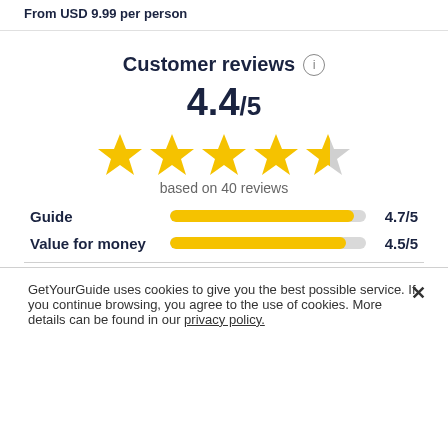From USD 9.99 per person
Customer reviews
4.4/5
[Figure (other): 4.4 out of 5 stars rating — four full gold stars and one half gold/half grey star]
based on 40 reviews
[Figure (bar-chart): Category ratings]
GetYourGuide uses cookies to give you the best possible service. If you continue browsing, you agree to the use of cookies. More details can be found in our privacy policy.